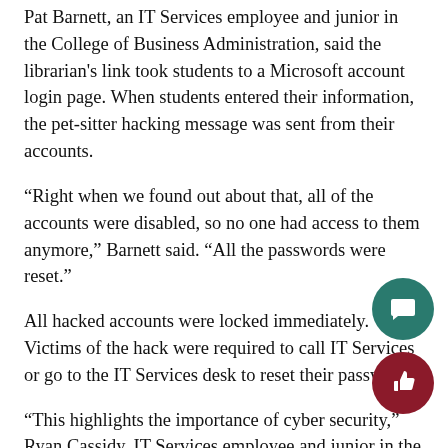Pat Barnett, an IT Services employee and junior in the College of Business Administration, said the librarian's link took students to a Microsoft account login page. When students entered their information, the pet-sitter hacking message was sent from their accounts.
“Right when we found out about that, all of the accounts were disabled, so no one had access to them anymore,” Barnett said. “All the passwords were reset.”
All hacked accounts were locked immediately. Victims of the hack were required to call IT Services or go to the IT Services desk to reset their passwords.
“This highlights the importance of cyber security,” Ryan Cassidy, IT Services employee and junior in the College of Health Sciences, said.
The security team can let worried students know if they are at risk of hacking or protected, Barnett said.
“We suggest to take a course to look at ways to notice fishy ema… Cassidy said. “They’re very common, and you can lose your importan…